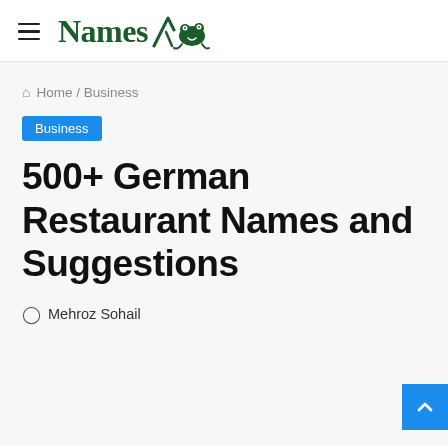Names [logo with frog illustration]
Home / Business
Business
500+ German Restaurant Names and Suggestions
Mehroz Sohail